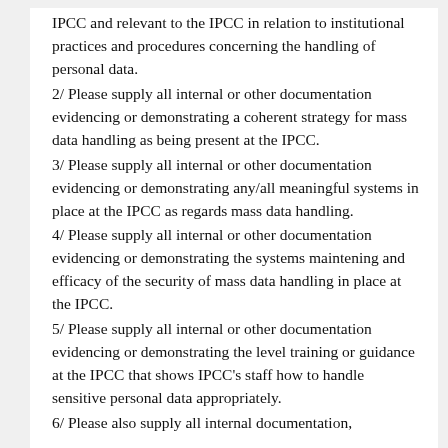IPCC and relevant to the IPCC in relation to institutional practices and procedures concerning the handling of personal data.
2/ Please supply all internal or other documentation evidencing or demonstrating a coherent strategy for mass data handling as being present at the IPCC.
3/ Please supply all internal or other documentation evidencing or demonstrating any/all meaningful systems in place at the IPCC as regards mass data handling.
4/ Please supply all internal or other documentation evidencing or demonstrating the systems maintening and efficacy of the security of mass data handling in place at the IPCC.
5/ Please supply all internal or other documentation evidencing or demonstrating the level training or guidance at the IPCC that shows IPCC's staff how to handle sensitive personal data appropriately.
6/ Please also supply all internal documentation,